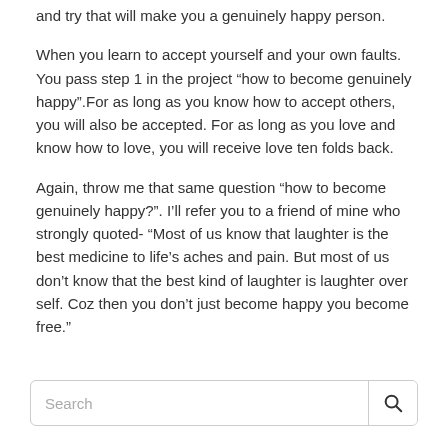and try that will make you a genuinely happy person.
When you learn to accept yourself and your own faults. You pass step 1 in the project “how to become genuinely happy”.For as long as you know how to accept others, you will also be accepted. For as long as you love and know how to love, you will receive love ten folds back.
Again, throw me that same question “how to become genuinely happy?”. I’ll refer you to a friend of mine who strongly quoted- “Most of us know that laughter is the best medicine to life’s aches and pain. But most of us don’t know that the best kind of laughter is laughter over self. Coz then you don’t just become happy you become free.”